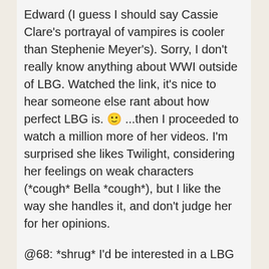Edward (I guess I should say Cassie Clare's portrayal of vampires is cooler than Stephenie Meyer's). Sorry, I don't really know anything about WWI outside of LBG. Watched the link, it's nice to hear someone else rant about how perfect LBG is. 🙂 ...then I proceeded to watch a million more of her videos. I'm surprised she likes Twilight, considering her feelings on weak characters (*cough* Bella *cough*), but I like the way she handles it, and don't judge her for her opinions.
@68: *shrug* I'd be interested in a LBG page.
Scott, we NEED FAF back!!!!